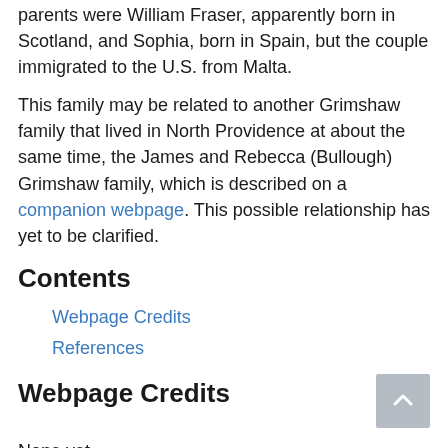parents were William Fraser, apparently born in Scotland, and Sophia, born in Spain, but the couple immigrated to the U.S. from Malta.
This family may be related to another Grimshaw family that lived in North Providence at about the same time, the James and Rebecca (Bullough) Grimshaw family, which is described on a companion webpage. This possible relationship has yet to be clarified.
Contents
Webpage Credits
References
Webpage Credits
None yet.